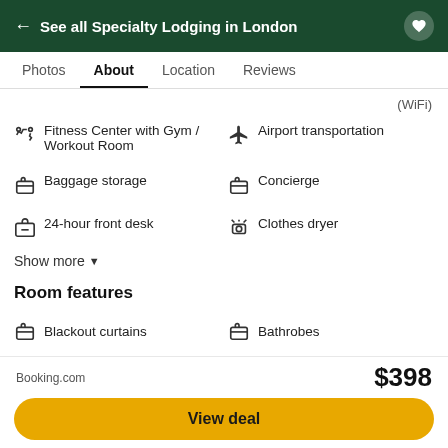← See all Specialty Lodging in London
Photos  About  Location  Reviews
(WiFi)
Fitness Center with Gym / Workout Room
Airport transportation
Baggage storage
Concierge
24-hour front desk
Clothes dryer
Show more ▼
Room features
Blackout curtains
Bathrobes
Air conditioning
Desk
Booking.com
$398
View deal